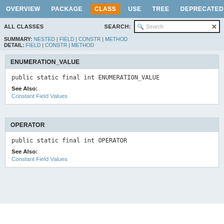OVERVIEW | PACKAGE | CLASS | USE | TREE | DEPRECATED
ALL CLASSES
SEARCH: [Search]
SUMMARY: NESTED | FIELD | CONSTR | METHOD
DETAIL: FIELD | CONSTR | METHOD
ENUMERATION_VALUE
public static final int ENUMERATION_VALUE
See Also:
Constant Field Values
OPERATOR
public static final int OPERATOR
See Also:
Constant Field Values